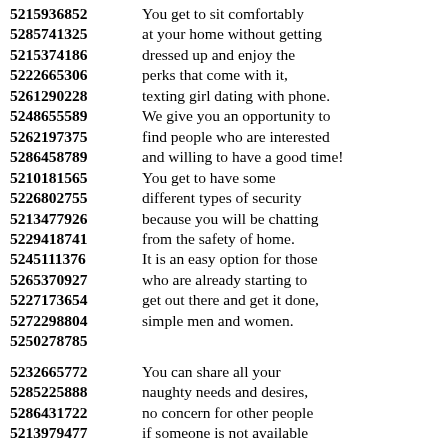5215936852 You get to sit comfortably
5285741325 at your home without getting
5215374186 dressed up and enjoy the
5222665306 perks that come with it,
5261290228 texting girl dating with phone.
5248655589 We give you an opportunity to
5262197375 find people who are interested
5286458789 and willing to have a good time!
5210181565 You get to have some
5226802755 different types of security
5213477926 because you will be chatting
5229418741 from the safety of home.
5245111376 It is an easy option for those
5265370927 who are already starting to
5227173654 get out there and get it done,
5272298804 simple men and women.
5250278785
5232665772 You can share all your
5285225888 naughty needs and desires,
5286431722 no concern for other people
5213979477 if someone is not available
5234619768 to check out and try out!
5227108906 The right way to date
5284148572 without leaving your area.
5289349879 The process of meeting with